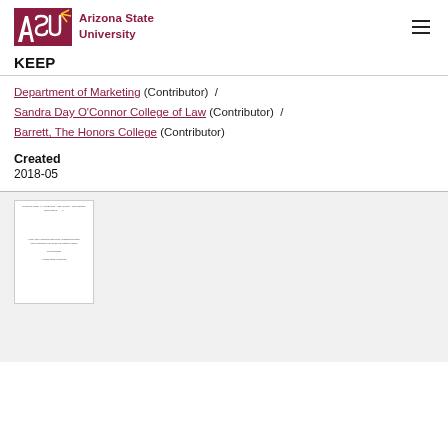[Figure (logo): Arizona State University logo with ASU letters in maroon and gold, followed by 'Arizona State University' text in maroon]
KEEP
Department of Marketing (Contributor) / Sandra Day O'Connor College of Law (Contributor) / Barrett, The Honors College (Contributor)
Created
2018-05
[Figure (screenshot): Thumbnail of a document page with small header text and body text centered on the page]